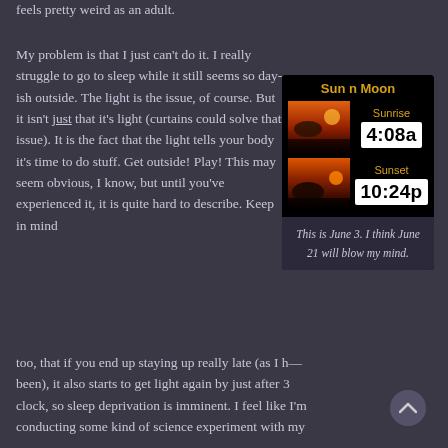feels pretty weird as an adult.
My problem is that I just can't do it. I really struggle to go to sleep while it still seems so day-ish outside. The light is the issue, of course. But it isn't just that it's light (curtains could solve that issue). It is the fact that the light tells your body it's time to do stuff. Get outside! Play! This may seem obvious, I know, but until you've experienced it, it is quite hard to describe. Keep in mind too, that if you end up staying up really late (as I have been), it also starts to get light again by just after 3 clock, so sleep deprivation is imminent. I feel like I'm conducting some kind of science experiment with my
[Figure (screenshot): Sun n Moon app screenshot showing Sunrise at 4:08a and Sunset at 10:24p]
This is June 3. I think June 21 will blow my mind.